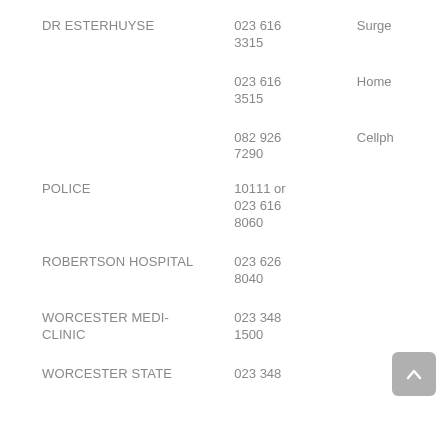DR ESTERHUYSE | 023 616 3315 | Surgery
DR ESTERHUYSE | 023 616 3515 | Home
DR ESTERHUYSE | 082 926 7290 | Cellphone
POLICE | 10111 or 023 616 8060
ROBERTSON HOSPITAL | 023 626 8040
WORCESTER MEDI-CLINIC | 023 348 1500
WORCESTER STATE | 023 348